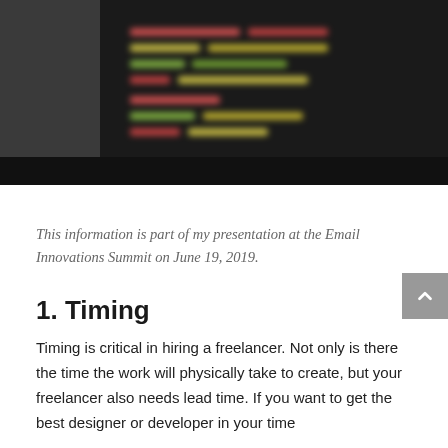[Figure (photo): Blurred photo of a code editor / terminal screen with colorful syntax-highlighted code on a dark background. Left side shows a darker gray panel.]
This information is part of my presentation at the Email Innovations Summit on June 19, 2019.
1. Timing
Timing is critical in hiring a freelancer. Not only is there the time the work will physically take to create, but your freelancer also needs lead time. If you want to get the best designer or developer in your time